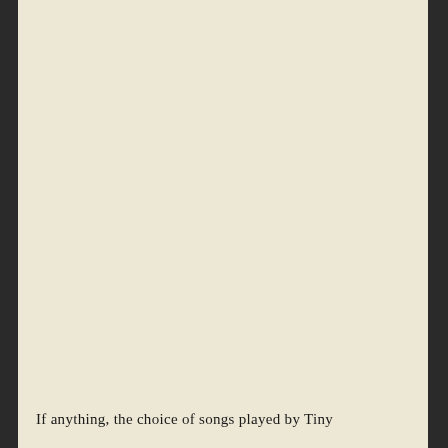If anything, the choice of songs played by Tiny